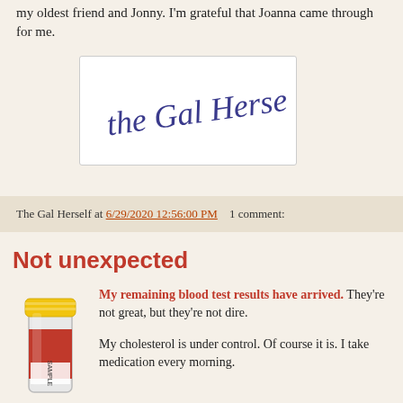my oldest friend and Jonny. I'm grateful that Joanna came through for me.
[Figure (illustration): Handwritten cursive signature reading 'the Gal Herself' in blue ink on white background with a border]
The Gal Herself at 6/29/2020 12:56:00 PM    1 comment:
Not unexpected
[Figure (photo): A blood sample collection tube with a red and yellow cap and a label reading 'SAMPLE']
My remaining blood test results have arrived. They're not great, but they're not dire.

My cholesterol is under control. Of course it is. I take medication every morning.